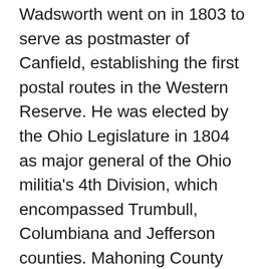Wadsworth went on in 1803 to serve as postmaster of Canfield, establishing the first postal routes in the Western Reserve. He was elected by the Ohio Legislature in 1804 as major general of the Ohio militia's 4th Division, which encompassed Trumbull, Columbiana and Jefferson counties. Mahoning County wasn't established until 1846.
According to the Western Reserve Historical Society, where Wadsworth's papers are stored, his role increased considerably during the War of 1812. That August, the British took control of Detroit, leaving all of northern Ohio a ment...